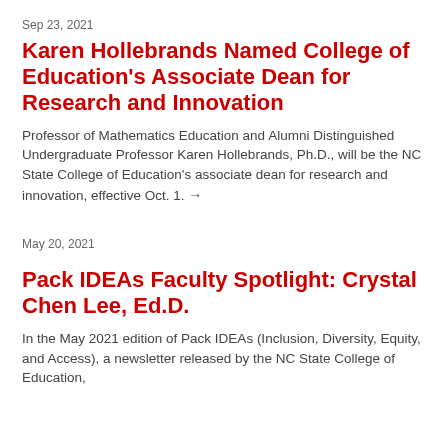Sep 23, 2021
Karen Hollebrands Named College of Education's Associate Dean for Research and Innovation
Professor of Mathematics Education and Alumni Distinguished Undergraduate Professor Karen Hollebrands, Ph.D., will be the NC State College of Education's associate dean for research and innovation, effective Oct. 1. →
May 20, 2021
Pack IDEAs Faculty Spotlight: Crystal Chen Lee, Ed.D.
In the May 2021 edition of Pack IDEAs (Inclusion, Diversity, Equity, and Access), a newsletter released by the NC State College of Education, Alumni...